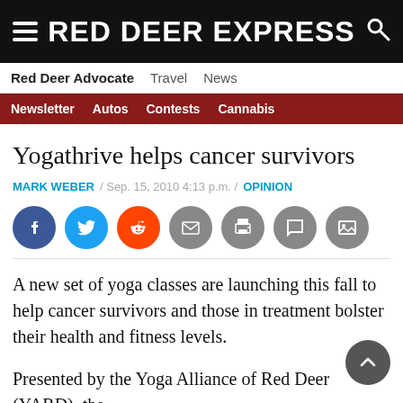RED DEER EXPRESS
Red Deer Advocate  Travel  News
Newsletter  Autos  Contests  Cannabis
Yogathrive helps cancer survivors
MARK WEBER / Sep. 15, 2010 4:13 p.m. / OPINION
[Figure (infographic): Social sharing buttons: Facebook, Twitter, Reddit, Email, Print, Comment, Image]
A new set of yoga classes are launching this fall to help cancer survivors and those in treatment bolster their health and fitness levels.
Presented by the Yoga Alliance of Red Deer (YARD), the